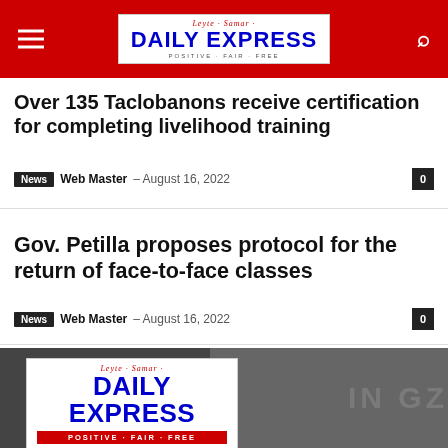Leyte-Samar DAILY EXPRESS POSITIVE · FAIR · FREE
Over 135 Taclobanons receive certification for completing livelihood training
News · Web Master – August 16, 2022 · 0
Gov. Petilla proposes protocol for the return of face-to-face classes
News · Web Master – August 16, 2022 · 0
[Figure (logo): Leyte-Samar Daily Express logo with tagline POSITIVE · FAIR · FREE, shown over dark background image]